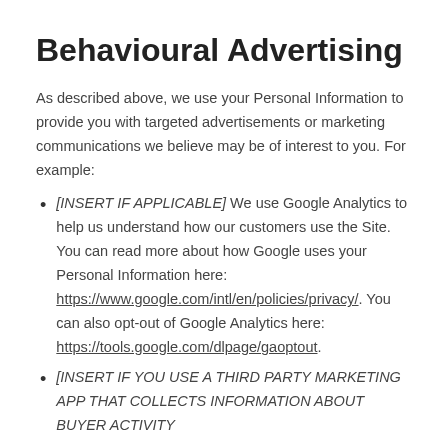Behavioural Advertising
As described above, we use your Personal Information to provide you with targeted advertisements or marketing communications we believe may be of interest to you. For example:
[INSERT IF APPLICABLE] We use Google Analytics to help us understand how our customers use the Site. You can read more about how Google uses your Personal Information here: https://www.google.com/intl/en/policies/privacy/. You can also opt-out of Google Analytics here: https://tools.google.com/dlpage/gaoptout.
[INSERT IF YOU USE A THIRD PARTY MARKETING APP THAT COLLECTS INFORMATION ABOUT BUYER ACTIVITY